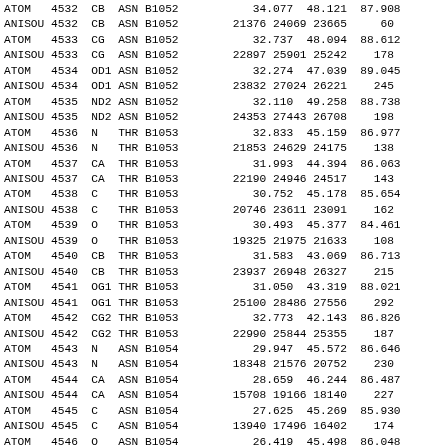| ATOM | 4532 | CB | ASN B1052 | 34.077 | 48.121 | 87.908 |
| ANISOU | 4532 | CB | ASN B1052 | 21376 | 24069 | 23665 | 60 |
| ATOM | 4533 | CG | ASN B1052 | 32.737 | 48.094 | 88.612 |
| ANISOU | 4533 | CG | ASN B1052 | 22897 | 25901 | 25242 | 178 |
| ATOM | 4534 | OD1 | ASN B1052 | 32.274 | 47.039 | 89.045 |
| ANISOU | 4534 | OD1 | ASN B1052 | 23832 | 27024 | 26221 | 245 |
| ATOM | 4535 | ND2 | ASN B1052 | 32.110 | 49.258 | 88.738 |
| ANISOU | 4535 | ND2 | ASN B1052 | 24353 | 27443 | 26708 | 198 |
| ATOM | 4536 | N | THR B1053 | 32.833 | 45.159 | 86.977 |
| ANISOU | 4536 | N | THR B1053 | 21853 | 24629 | 24175 | 138 |
| ATOM | 4537 | CA | THR B1053 | 31.993 | 44.394 | 86.063 |
| ANISOU | 4537 | CA | THR B1053 | 22190 | 24946 | 24517 | 143 |
| ATOM | 4538 | C | THR B1053 | 30.752 | 45.178 | 85.654 |
| ANISOU | 4538 | C | THR B1053 | 20746 | 23611 | 23091 | 162 |
| ATOM | 4539 | O | THR B1053 | 30.493 | 45.377 | 84.461 |
| ANISOU | 4539 | O | THR B1053 | 19325 | 21975 | 21633 | 108 |
| ATOM | 4540 | CB | THR B1053 | 31.583 | 43.069 | 86.713 |
| ANISOU | 4540 | CB | THR B1053 | 23937 | 26948 | 26327 | 215 |
| ATOM | 4541 | OG1 | THR B1053 | 31.050 | 43.319 | 88.021 |
| ANISOU | 4541 | OG1 | THR B1053 | 25100 | 28486 | 27556 | 292 |
| ATOM | 4542 | CG2 | THR B1053 | 32.773 | 42.143 | 86.826 |
| ANISOU | 4542 | CG2 | THR B1053 | 22990 | 25844 | 25355 | 187 |
| ATOM | 4543 | N | ASN B1054 | 29.947 | 45.572 | 86.646 |
| ANISOU | 4543 | N | ASN B1054 | 18348 | 21576 | 20752 | 230 |
| ATOM | 4544 | CA | ASN B1054 | 28.659 | 46.244 | 86.487 |
| ANISOU | 4544 | CA | ASN B1054 | 15708 | 19166 | 18140 | 227 |
| ATOM | 4545 | C | ASN B1054 | 27.625 | 45.269 | 85.930 |
| ANISOU | 4545 | C | ASN B1054 | 13940 | 17496 | 16402 | 174 |
| ATOM | 4546 | O | ASN B1054 | 26.419 | 45.498 | 86.048 |
| ANISOU | 4546 | O | ASN B1054 | 14944 | 18627 | 17472 | 88 |
| ATOM | 4547 | CB | ASN B1054 | 28.700 | 47.401 | 85.501 |